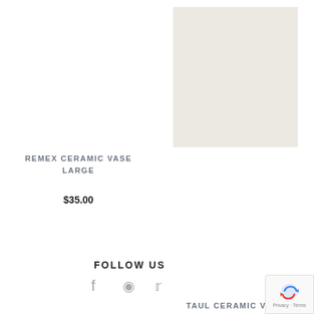[Figure (photo): Product image placeholder for Taul Ceramic Vase — a light beige/cream colored square tile image]
REMEX CERAMIC VASE LARGE
$35.00
TAUL CERAMIC VASE
$55.00
FOLLOW US